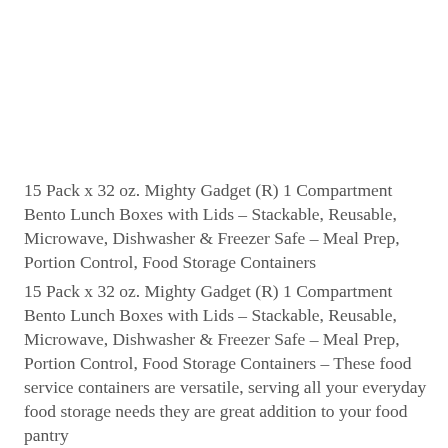15 Pack x 32 oz. Mighty Gadget (R) 1 Compartment Bento Lunch Boxes with Lids – Stackable, Reusable, Microwave, Dishwasher & Freezer Safe – Meal Prep, Portion Control, Food Storage Containers
15 Pack x 32 oz. Mighty Gadget (R) 1 Compartment Bento Lunch Boxes with Lids – Stackable, Reusable, Microwave, Dishwasher & Freezer Safe – Meal Prep, Portion Control, Food Storage Containers – These food service containers are versatile, serving all your everyday food storage needs they are great addition to your food pantry